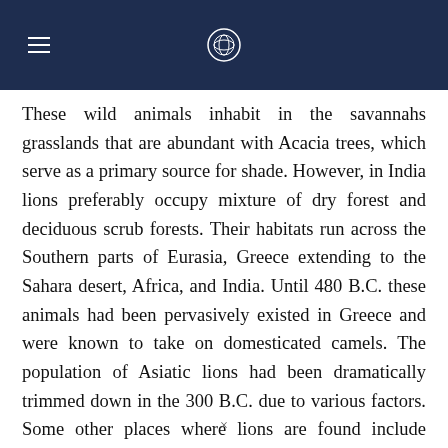These wild animals inhabit in the savannahs grasslands that are abundant with Acacia trees, which serve as a primary source for shade. However, in India lions preferably occupy mixture of dry forest and deciduous scrub forests. Their habitats run across the Southern parts of Eurasia, Greece extending to the Sahara desert, Africa, and India. Until 480 B.C. these animals had been pervasively existed in Greece and were known to take on domesticated camels. The population of Asiatic lions had been dramatically trimmed down in the 300 B.C. due to various factors. Some other places where lions are found include North Africa, Iran, Southwest Asia, Cir
×